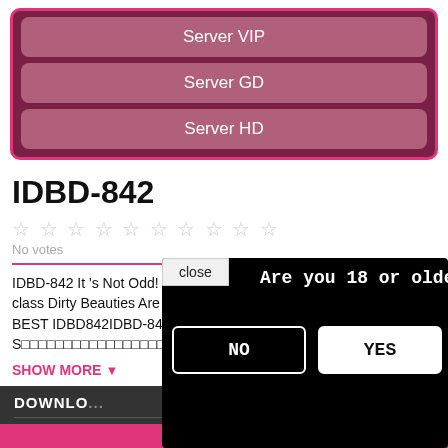[Figure (screenshot): Server selection buttons: Server VIP, Server GD, Server HD in a dark red/pink bordered box]
IDBD-842
No votes
IDBD-842 It 's Not Odd! On The Verge Of Testicular Outburst! !! S-class Dirty Beauties Are Licking All The Time And Nipple Torture BEST IDBD842IDBD-842 □□□□□□□□□□□□□□ S□□□□□□□□□□□□□□□□□□□□□□ BEST□□□, □□□□□□,...
SHOW MORE ▼
DOWNLO...
[Figure (screenshot): Age verification modal overlay on black background with 'close' button, 'Are you 18 or older?' question, and NO / YES buttons]